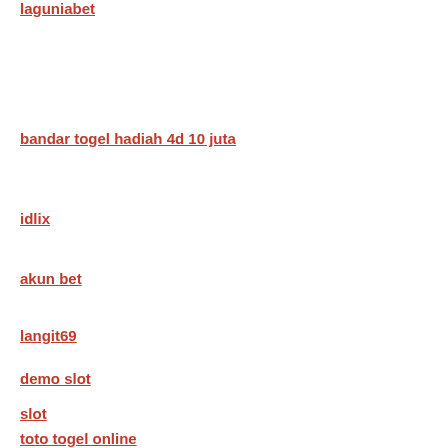laguniabet
bandar togel hadiah 4d 10 juta
idlix
akun bet
langit69
demo slot
slot
toto togel online